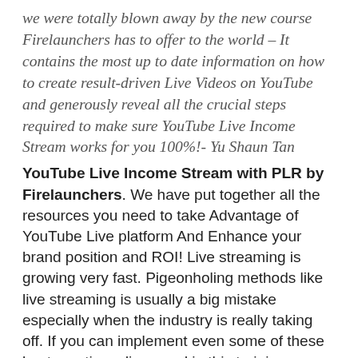we were totally blown away by the new course Firelaunchers has to offer to the world – It contains the most up to date information on how to create result-driven Live Videos on YouTube and generously reveal all the crucial steps required to make sure YouTube Live Income Stream works for you 100%!- Yu Shaun Tan
YouTube Live Income Stream with PLR by Firelaunchers. We have put together all the resources you need to take Advantage of YouTube Live platform And Enhance your brand position and ROI! Live streaming is growing very fast. Pigeonholing methods like live streaming is usually a big mistake especially when the industry is really taking off. If you can implement even some of these best practices discussed in this training course, it will not take long to get there, and outrank your competitors. Get your very own copy of YouTube Live Income Stream PLR by clicking on the Buy